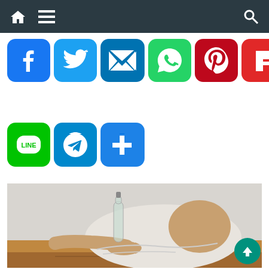Navigation bar with home, menu, and search icons
[Figure (screenshot): Social media share buttons row 1: Facebook (blue), Twitter (blue), Email (blue), WhatsApp (green), Pinterest (red), Flipboard (red), Tumblr (dark), WordPress (dark)]
[Figure (screenshot): Social media share buttons row 2: LINE (green), Telegram (blue), More/Plus (blue)]
[Figure (photo): Person slumped over a wooden table with head down on arms, a clear glass bottle beside them, wearing a white shirt]